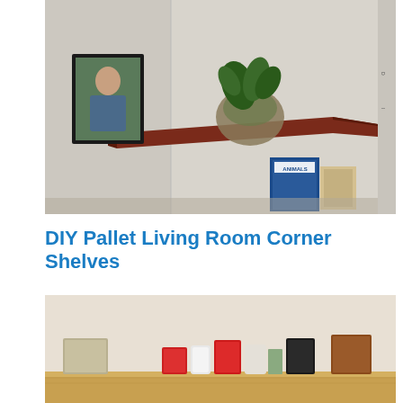[Figure (photo): A corner shelf made from a pallet plank mounted on a white wall. A round glass vase with a green plant sits on the shelf. A framed photo hangs on the wall to the left. Books and objects are on the floor below, including an 'Animals' book.]
DIY Pallet Living Room Corner Shelves
[Figure (photo): A wooden pallet shelf mounted on a wall displaying various tin canisters and containers including red, black, white and brown tins lined up on the shelf.]